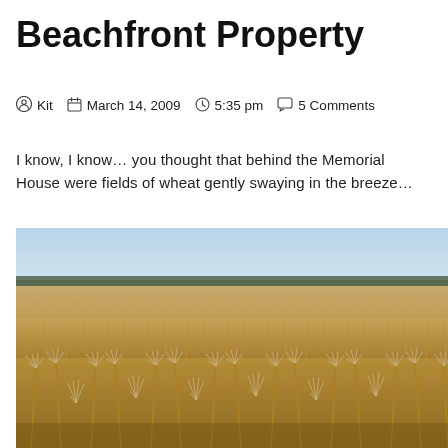Beachfront Property
Kit   March 14, 2009   5:35 pm   5 Comments
I know, I know... you thought that behind the Memorial House were fields of wheat gently swaying in the breeze...
[Figure (photo): Close-up photograph of a wheat field with golden wheat stalks and feathery seed heads in the foreground, a tree line and light blue sky visible in the background.]